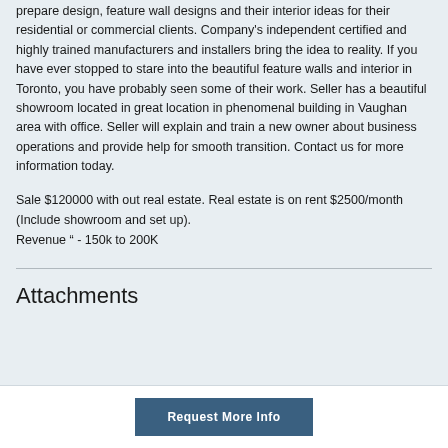prepare design, feature wall designs and their interior ideas for their residential or commercial clients. Company's independent certified and highly trained manufacturers and installers bring the idea to reality. If you have ever stopped to stare into the beautiful feature walls and interior in Toronto, you have probably seen some of their work. Seller has a beautiful showroom located in great location in phenomenal building in Vaughan area with office. Seller will explain and train a new owner about business operations and provide help for smooth transition. Contact us for more information today.
Sale $120000 with out real estate. Real estate is on rent $2500/month (Include showroom and set up).
Revenue " - 150k to 200K
Attachments
Request More Info